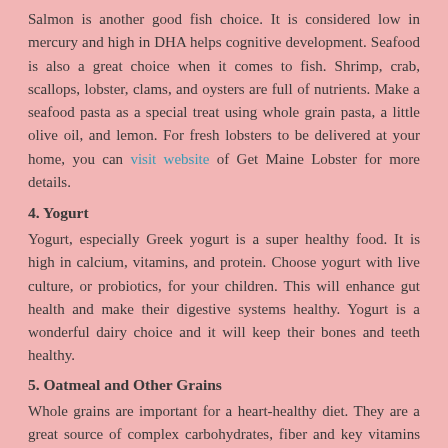Salmon is another good fish choice. It is considered low in mercury and high in DHA helps cognitive development. Seafood is also a great choice when it comes to fish. Shrimp, crab, scallops, lobster, clams, and oysters are full of nutrients. Make a seafood pasta as a special treat using whole grain pasta, a little olive oil, and lemon. For fresh lobsters to be delivered at your home, you can visit website of Get Maine Lobster for more details.
4. Yogurt
Yogurt, especially Greek yogurt is a super healthy food. It is high in calcium, vitamins, and protein. Choose yogurt with live culture, or probiotics, for your children. This will enhance gut health and make their digestive systems healthy. Yogurt is a wonderful dairy choice and it will keep their bones and teeth healthy.
5. Oatmeal and Other Grains
Whole grains are important for a heart-healthy diet. They are a great source of complex carbohydrates, fiber and key vitamins and minerals. Kids usually love oatmeal. Oatmeal can be introduced as one of a baby's first solid foods. Mix it with some breast milk or formula when your kids are babies...